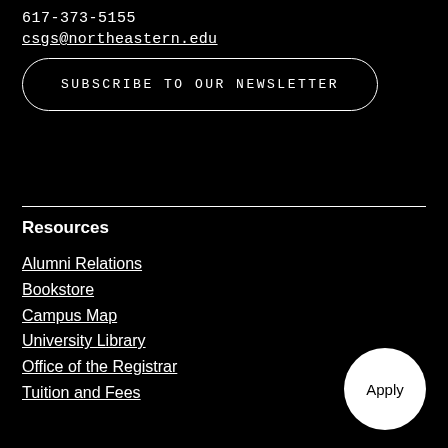617-373-5155
csgs@northeastern.edu
SUBSCRIBE TO OUR NEWSLETTER
Resources
Alumni Relations
Bookstore
Campus Map
University Library
Office of the Registrar
Tuition and Fees
Apply